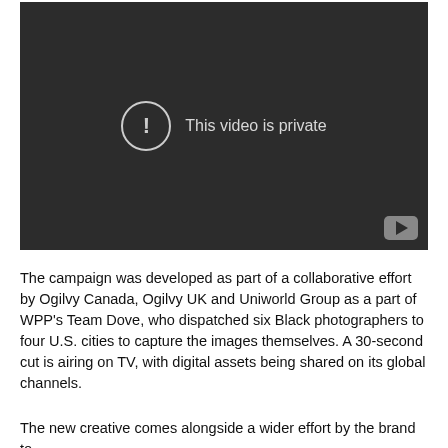[Figure (screenshot): Embedded video player showing a dark background with a circle-exclamation icon and the text 'This video is private', and a YouTube logo button in the bottom-right corner.]
The campaign was developed as part of a collaborative effort by Ogilvy Canada, Ogilvy UK and Uniworld Group as a part of WPP's Team Dove, who dispatched six Black photographers to four U.S. cities to capture the images themselves. A 30-second cut is airing on TV, with digital assets being shared on its global channels.
The new creative comes alongside a wider effort by the brand to